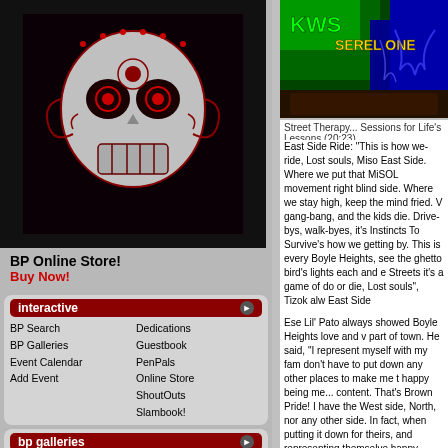[Figure (illustration): Decorative sugar skull / Day of the Dead skull illustration in red and grey on dark background]
BP Online Store!
Buy Now!
interactive
BP Search
BP Galleries
Event Calendar
Add Event
Dedications
Guestbook
PenPals
Online Store
ShoutOuts
Slambook!
bp galleries
Art Work
BP Latinas
BP Homies
BP Couples
Event Photos
Latino Fashion
Lowriders
Graffiti
Tattoos
[Figure (photo): Graffiti art showing KWS and SEREL ONE text on colorful background of green and blue]
Street Therapy... Sessions for Life's Lessons (20:23)
East Side Ride: "This is how we-ride, Lost souls, Miso East Side. Where we put that MiSOL movement right blind side. Where we stay high, keep the mind fried. V gang-bang, and the kids die. Drive-bys, walk-byes, it's Instincts To Survive's how we getting by. This is every Boyle Heights, see the ghetto bird's lights each and e Streets it's a game of do or die, Lost souls", Tizok alw East Side
Ese Lil' Pato always showed Boyle Heights love and v part of town. He said, "I represent myself with my fam don't have to put down any other places to make me t happy being me... content. That's Brown Pride! I have the West side, North, nor any other side. In fact, when putting it down for theirs, and representing themselve happy being them without having to tear down others respect them. If only more people lived like that. It ma sense to find reasons to beef when there are haters a nine-times-outta-ten they come from within your own
When asked what the attraction was about gangs, Pa reflectively and said, "We always liked that old black